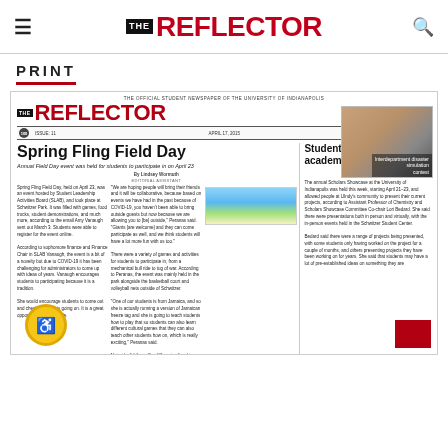THE REFLECTOR
PRINT
[Figure (photo): Scanned newspaper front page of The Reflector, the official student newspaper of the University of Indianapolis. Issue 11, April 17, 2015. Main headline: 'Spring Fling Field Day' with subheadline 'Annual Field Day event was held for students to participate in on April 23'. Secondary headline: 'Students showcase academic work'. Photo of student on right side. Accessibility badge at bottom left. Red box at bottom right.]